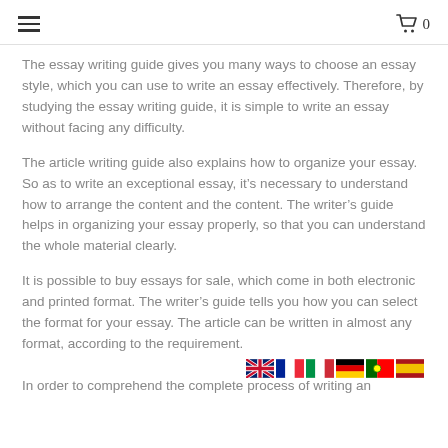≡  🛒 0
The essay writing guide gives you many ways to choose an essay style, which you can use to write an essay effectively. Therefore, by studying the essay writing guide, it is simple to write an essay without facing any difficulty.
The article writing guide also explains how to organize your essay. So as to write an exceptional essay, it's necessary to understand how to arrange the content and the content. The writer's guide helps in organizing your essay properly, so that you can understand the whole material clearly.
It is possible to buy essays for sale, which come in both electronic and printed format. The writer's guide tells you how you can select the format for your essay. The article can be written in almost any format, according to the requirement.
[Figure (illustration): Row of country flag icons: UK, France, Germany, Italy, Portugal, Spain]
In order to comprehend the complete process of writing an